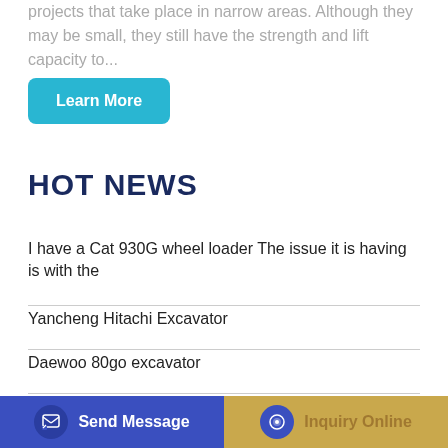projects that take place in narrow areas. Although they may be small, they still have the strength and lift capacity to...
Learn More
HOT NEWS
I have a Cat 930G wheel loader The issue it is having is with the
Yancheng Hitachi Excavator
Daewoo 80go excavator
A D Excavating - Home Facebook
Changgong Loader Full Vehicle Sticker
TW50 Wheel Loader
Send Message
Inquiry Online